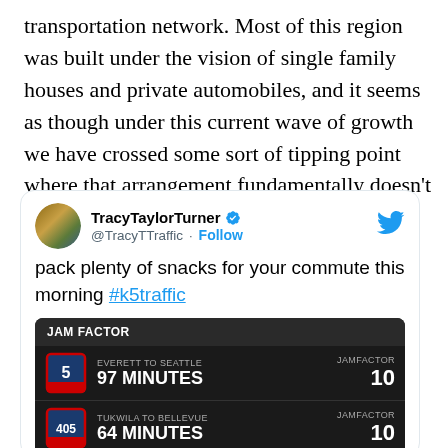transportation network. Most of this region was built under the vision of single family houses and private automobiles, and it seems as though under this current wave of growth we have crossed some sort of tipping point where that arrangement fundamentally doesn't work anymore.
[Figure (screenshot): Tweet from @TracyTTraffic (TracyTaylorTurner, verified) with text 'pack plenty of snacks for your commute this morning #k5traffic' and an embedded JAM FACTOR graphic showing: I-5 Everett to Seattle 97 minutes JAMFACTOR 10; I-405 Tukwila to Bellevue 64 minutes JAMFACTOR 10]